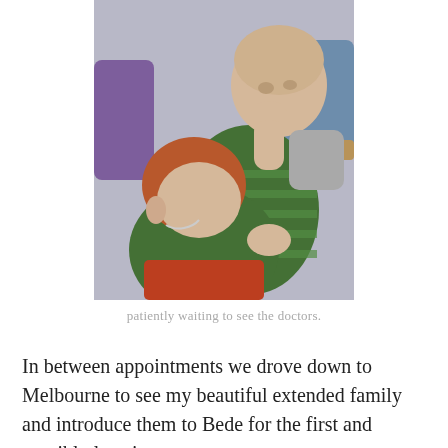[Figure (photo): Two young children (babies/toddlers) sitting together, one with red/auburn hair leaning against the other who has light hair and is wearing a green striped shirt. The child appears to have a medical tube. They are in what looks like a medical or waiting room setting with purple and teal chairs visible in the background.]
patiently waiting to see the doctors.
In between appointments we drove down to Melbourne to see my beautiful extended family and introduce them to Bede for the first and possibly last time.